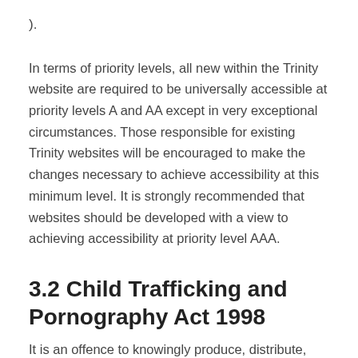).
In terms of priority levels, all new within the Trinity website are required to be universally accessible at priority levels A and AA except in very exceptional circumstances. Those responsible for existing Trinity websites will be encouraged to make the changes necessary to achieve accessibility at this minimum level. It is strongly recommended that websites should be developed with a view to achieving accessibility at priority level AAA.
3.2 Child Trafficking and Pornography Act 1998
It is an offence to knowingly produce, distribute,